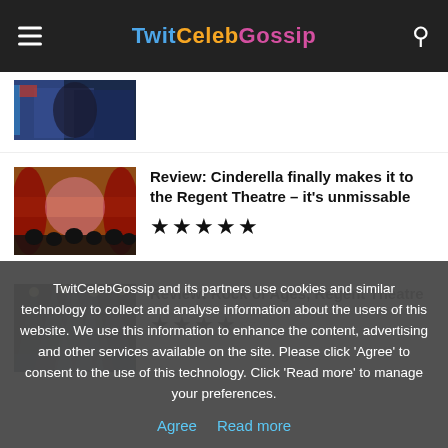TwitCelebGossip
[Figure (photo): Partial article thumbnail showing a person in formal attire]
[Figure (photo): Theatre stage with colorful lighting and crowd]
Review: Cinderella finally makes it to the Regent Theatre – it's unmissable
[Figure (other): 5 filled stars rating]
[Figure (photo): Concert stage with dramatic light beams]
Review: Rock of Ages, Regent Theatre
[Figure (other): 3.5 stars rating (3 filled, 1 half/empty)]
TwitCelebGossip and its partners use cookies and similar technology to collect and analyse information about the users of this website. We use this information to enhance the content, advertising and other services available on the site. Please click ‘Agree’ to consent to the use of this technology. Click ‘Read more’ to manage your preferences.
Agree   Read more